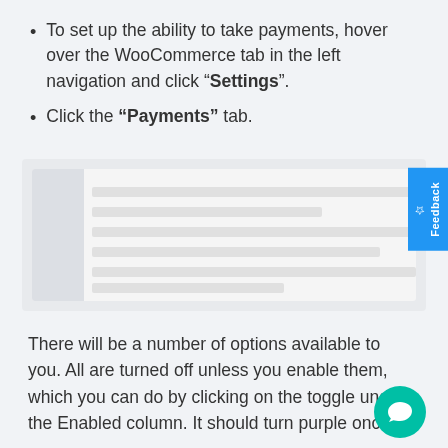To set up the ability to take payments, hover over the WooCommerce tab in the left navigation and click “Settings”.
Click the “Payments” tab.
[Figure (screenshot): A blurred/greyed screenshot of the WooCommerce Payments settings interface, showing a sidebar on the left and payment option rows in the content area.]
There will be a number of options available to you. All are turned off unless you enable them, which you can do by clicking on the toggle under the Enabled column. It should turn purple once